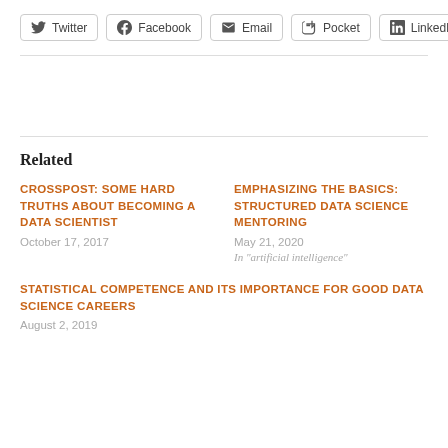[Figure (other): Social sharing buttons row: Twitter, Facebook, Email, Pocket, LinkedIn]
Related
CROSSPOST: SOME HARD TRUTHS ABOUT BECOMING A DATA SCIENTIST
October 17, 2017
EMPHASIZING THE BASICS: STRUCTURED DATA SCIENCE MENTORING
May 21, 2020
In "artificial intelligence"
STATISTICAL COMPETENCE AND ITS IMPORTANCE FOR GOOD DATA SCIENCE CAREERS
August 2, 2019